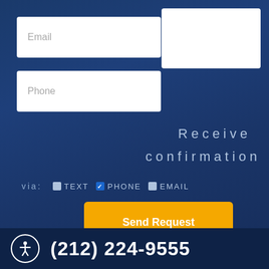[Figure (screenshot): Email input field (white rounded rectangle with placeholder text 'Email')]
[Figure (screenshot): Upper right white box (partial form field)]
[Figure (screenshot): Phone input field (white rounded rectangle with placeholder text 'Phone')]
Receive confirmation via: TEXT PHONE EMAIL
[Figure (screenshot): Send Request button (orange rectangle)]
(212) 224-9555